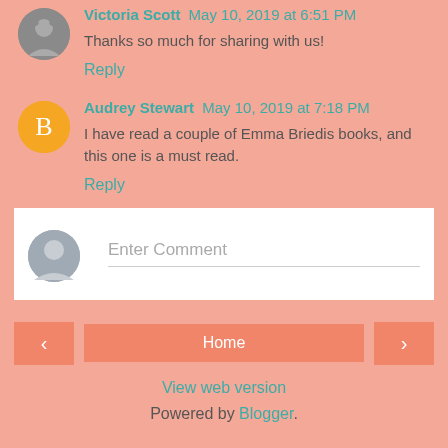Victoria Scott May 10, 2019 at 6:51 PM
Thanks so much for sharing with us!
Reply
Audrey Stewart May 10, 2019 at 7:18 PM
I have read a couple of Emma Briedis books, and this one is a must read.
Reply
Enter Comment
Home
View web version
Powered by Blogger.